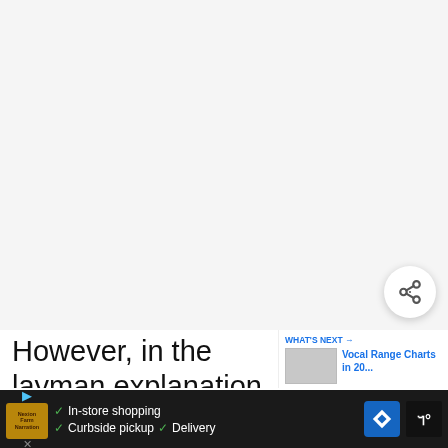[Figure (other): Large blank/white-grey content area representing an embedded image or video above the text]
However, in the layman explanation to the vocal ranges chart above. The vocal range is merely the span between the highest to
[Figure (thumbnail): WHAT'S NEXT → thumbnail showing 'Vocal Range Charts in 20...']
[Figure (other): Advertisement bar at bottom: Nexon game ad with In-store shopping, Curbside pickup, Delivery options and navigation/weather icons]